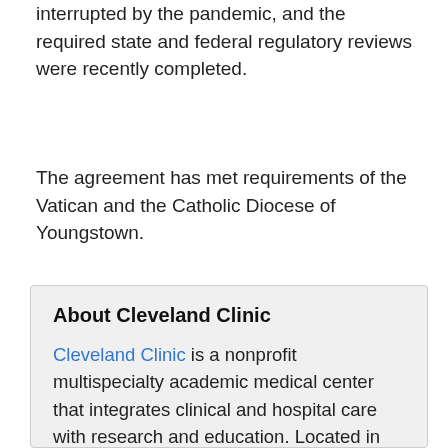interrupted by the pandemic, and the required state and federal regulatory reviews were recently completed.
The agreement has met requirements of the Vatican and the Catholic Diocese of Youngstown.
About Cleveland Clinic
Cleveland Clinic is a nonprofit multispecialty academic medical center that integrates clinical and hospital care with research and education. Located in Cleveland, Ohio, it was founded in 1921 by four renowned physicians with a vision of providing outstanding patient care based